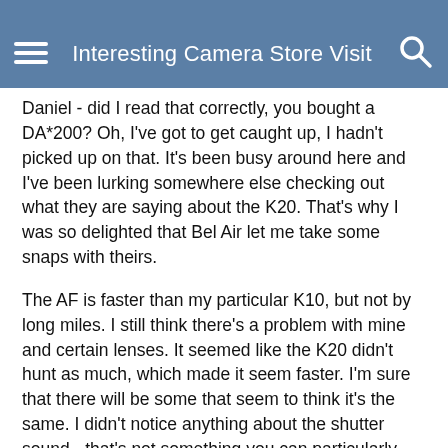Interesting Camera Store Visit
Daniel - did I read that correctly, you bought a DA*200? Oh, I've got to get caught up, I hadn't picked up on that. It's been busy around here and I've been lurking somewhere else checking out what they are saying about the K20. That's why I was so delighted that Bel Air let me take some snaps with theirs.
The AF is faster than my particular K10, but not by long miles. I still think there's a problem with mine and certain lenses. It seemed like the K20 didn't hunt as much, which made it seem faster. I'm sure that there will be some that seem to think it's the same. I didn't notice anything about the shutter sound - that's not something you can particularly judge in a busy store.
In the end, the camera is just a tool. I like Daniel's comment that the K20 is an evolution of the K10 - definitely improved but not so revolutionary as some would like. I'm still very